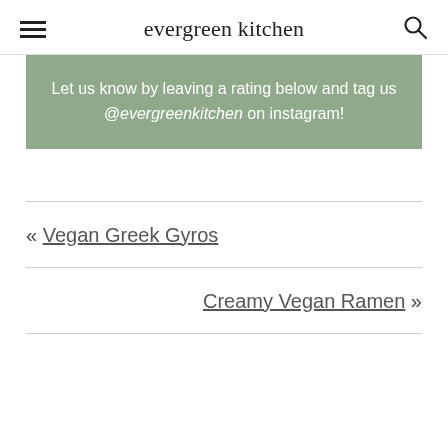evergreen kitchen
Let us know by leaving a rating below and tag us @evergreenkitchen on instagram!
« Vegan Greek Gyros
Creamy Vegan Ramen »